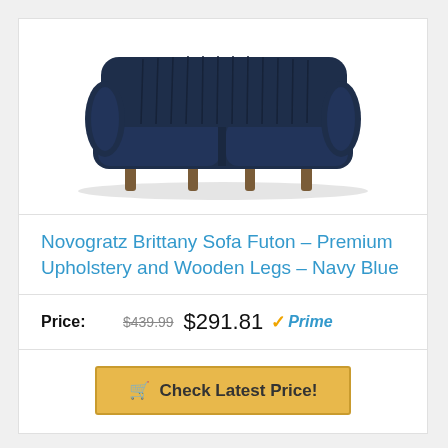[Figure (photo): Navy blue Novogratz Brittany Sofa Futon with vertical channel tufting on the back, rounded arms, and wooden angled legs in a mid-century modern style]
Novogratz Brittany Sofa Futon – Premium Upholstery and Wooden Legs – Navy Blue
Price: $439.99 $291.81 Prime
Check Latest Price!